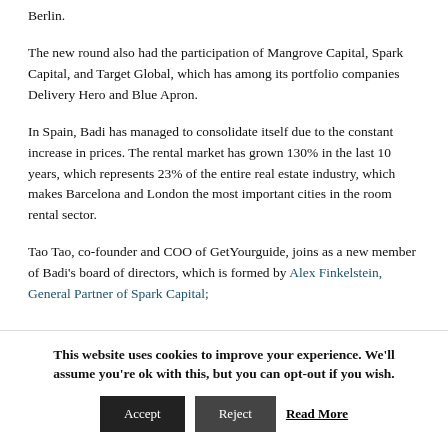Berlin.
The new round also had the participation of Mangrove Capital, Spark Capital, and Target Global, which has among its portfolio companies Delivery Hero and Blue Apron.
In Spain, Badi has managed to consolidate itself due to the constant increase in prices. The rental market has grown 130% in the last 10 years, which represents 23% of the entire real estate industry, which makes Barcelona and London the most important cities in the room rental sector.
Tao Tao, co-founder and COO of GetYourguide, joins as a new member of Badi's board of directors, which is formed by Alex Finkelstein, General Partner of Spark Capital;
This website uses cookies to improve your experience. We'll assume you're ok with this, but you can opt-out if you wish.